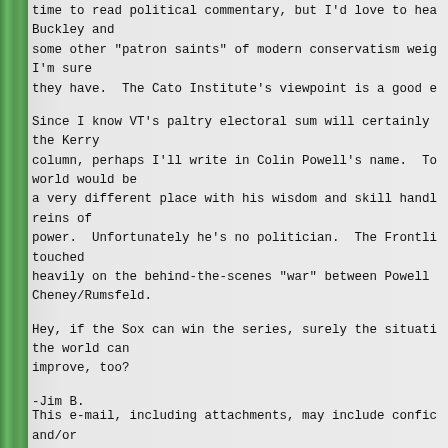time to read political commentary, but I'd love to hea
Buckley and
some other "patron saints" of modern conservatism weig
I'm sure
they have.  The Cato Institute's viewpoint is a good e
Since I know VT's paltry electoral sum will certainly 
the Kerry
column, perhaps I'll write in Colin Powell's name.  To
world would be
a very different place with his wisdom and skill handl
reins of
power.  Unfortunately he's no politician.  The Frontli
touched
heavily on the behind-the-scenes "war" between Powell 
Cheney/Rumsfeld.
Hey, if the Sox can win the series, surely the situati
the world can
improve, too?
-Jim B.
This e-mail, including attachments, may include confic
and/or